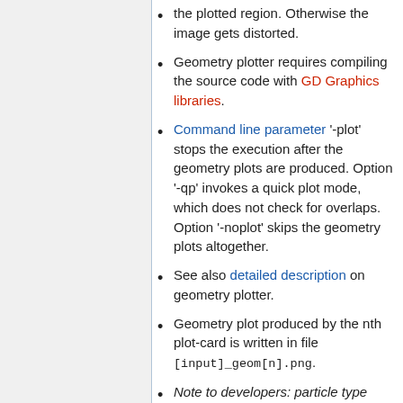the plotted region. Otherwise the image gets distorted.
Geometry plotter requires compiling the source code with GD Graphics libraries.
Command line parameter '-plot' stops the execution after the geometry plots are produced. Option '-qp' invokes a quick plot mode, which does not check for overlaps. Option '-noplot' skips the geometry plots altogether.
See also detailed description on geometry plotter.
Geometry plot produced by the nth plot-card is written in file [input]_geom[n].png.
Note to developers: particle type should be included as an input parameter in importance map plots.